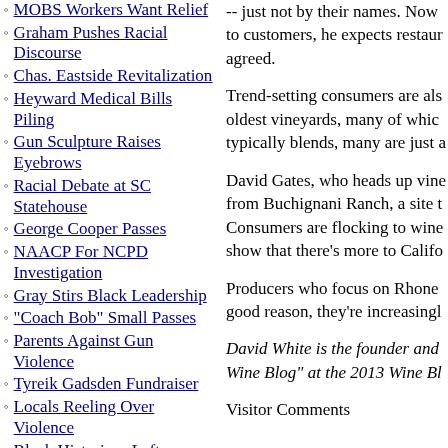MOBS Workers Want Relief
Graham Pushes Racial Discourse
Chas. Eastside Revitalization
Heyward Medical Bills Piling
Gun Sculpture Raises Eyebrows
Racial Debate at SC Statehouse
George Cooper Passes
NAACP For NCPD Investigation
Gray Stirs Black Leadership
"Coach Bob" Small Passes
Parents Against Gun Violence
Tyreik Gadsden Fundraiser
Locals Reeling Over Violence
Black Historians Left
-- just not by their names. Now to customers, he expects restaur agreed.
Trend-setting consumers are als oldest vineyards, many of whic typically blends, many are just a
David Gates, who heads up vine from Buchignani Ranch, a site t Consumers are flocking to wine show that there's more to Califo
Producers who focus on Rhone good reason, they're increasingl
David White is the founder and Wine Blog" at the 2013 Wine Bl
Visitor Comments